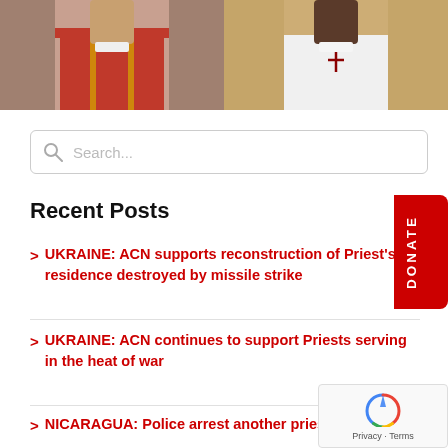[Figure (photo): Two photos of Catholic priests/clergy. Left photo shows a man in red vestments. Right photo shows a man in white vestments with a cross.]
[Figure (screenshot): Search bar with placeholder text 'Search...' and a magnifying glass icon on the left, inside a rounded rectangle border.]
Recent Posts
UKRAINE: ACN supports reconstruction of Priest's residence destroyed by missile strike
UKRAINE: ACN continues to support Priests serving in the heat of war
NICARAGUA: Police arrest another priest amid